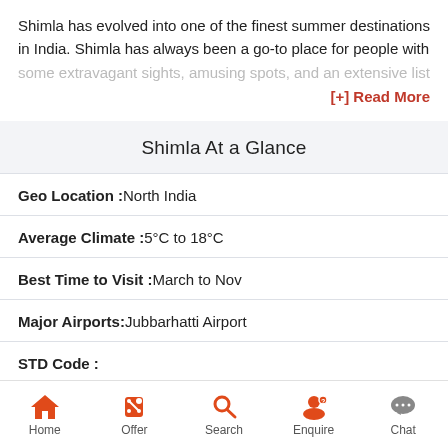Shimla has evolved into one of the finest summer destinations in India. Shimla has always been a go-to place for people with some extravagant sights, amusing spots, and an extensive list
[+] Read More
Shimla At a Glance
Geo Location : North India
Average Climate : 5°C to 18°C
Best Time to Visit : March to Nov
Major Airports: Jubbarhatti Airport
STD Code :
Home  Offer  Search  Enquire  Chat